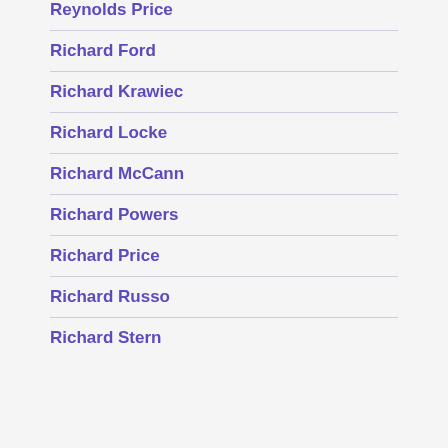Reynolds Price
Richard Ford
Richard Krawiec
Richard Locke
Richard McCann
Richard Powers
Richard Price
Richard Russo
Richard Stern